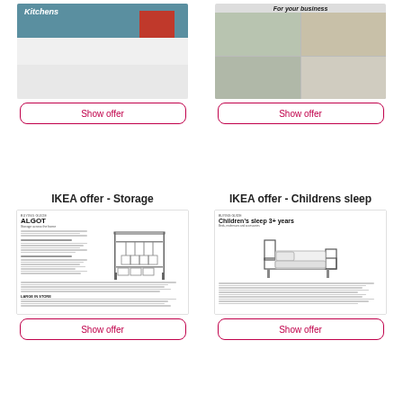[Figure (photo): Kitchen catalogue image showing white cabinets with red open shelving, backsplash, and countertop with 'Kitchens' text overlay]
Show offer
[Figure (photo): Business catalogue image showing a collage of restaurant/cafe interior photos with 'For your business' text overlay]
Show offer
IKEA offer - Storage
IKEA offer - Childrens sleep
[Figure (photo): Thumbnail of IKEA ALGOT storage buying guide document showing wardrobe rack system illustration]
Show offer
[Figure (photo): Thumbnail of IKEA Children's sleep 3+ years buying guide document showing a bed illustration]
Show offer